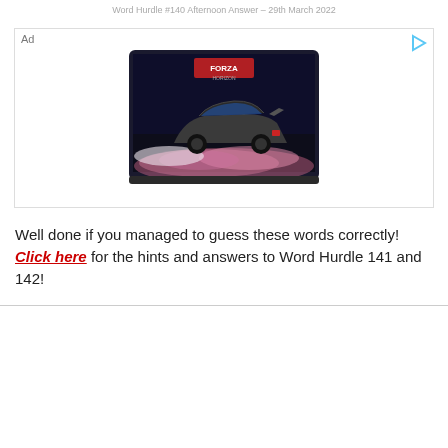Word Hurdle #140 Afternoon Answer – 29th March 2022
[Figure (photo): Advertisement showing a car (appears to be from Forza Horizon game) drifting with smoke, displayed on a dark laptop screen. Ad label in top-left corner.]
Well done if you managed to guess these words correctly! Click here for the hints and answers to Word Hurdle 141 and 142!